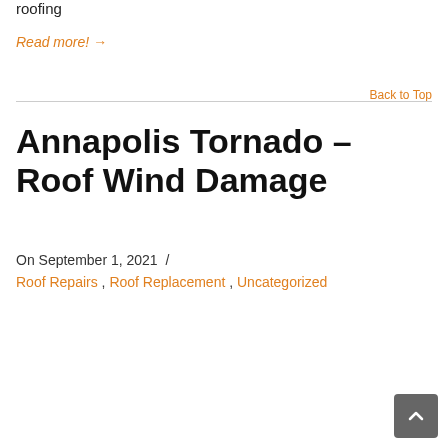roofing
Read more! →
Back to Top
Annapolis Tornado – Roof Wind Damage
On September 1, 2021  /
Roof Repairs , Roof Replacement , Uncategorized